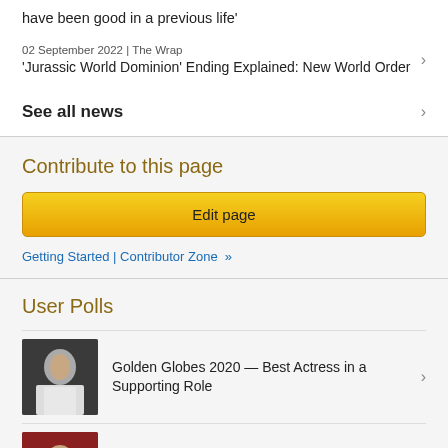have been good in a previous life'
02 September 2022 | The Wrap
'Jurassic World Dominion' Ending Explained: New World Order
See all news
Contribute to this page
Edit page
Getting Started | Contributor Zone »
User Polls
Golden Globes 2020 — Best Actress in a Supporting Role
Emmys 2020 — Outstanding Supporting Actress in a